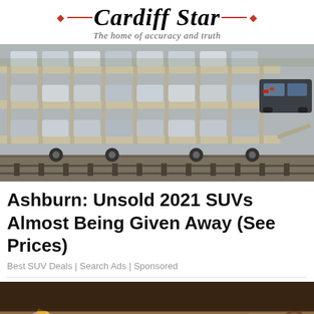Cardiff Star — The home of accuracy and truth
[Figure (photo): Car transport truck carrying multiple SUVs on a multi-level auto carrier, photographed from the side]
Ashburn: Unsold 2021 SUVs Almost Being Given Away (See Prices)
Best SUV Deals | Search Ads | Sponsored
[Figure (photo): Close-up of hands doing woodworking, holding a pencil near wood shavings with a hand plane tool visible]